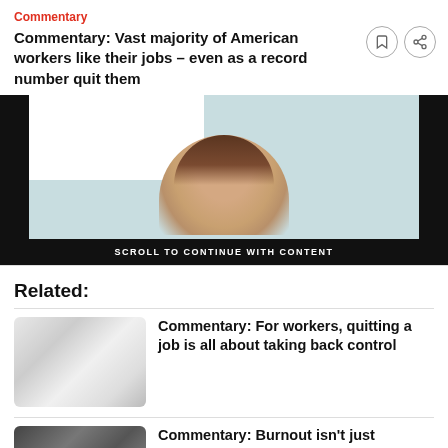Commentary
Commentary: Vast majority of American workers like their jobs – even as a record number quit them
[Figure (photo): Advertisement banner showing a woman's face with HYDROFLUX branding on a light blue background, with 'SCROLL TO CONTINUE WITH CONTENT' text at the bottom on a black bar]
Related:
[Figure (photo): Thumbnail image of a person in white clothing with arms raised]
Commentary: For workers, quitting a job is all about taking back control
[Figure (photo): Black and white thumbnail image]
Commentary: Burnout isn't just exhaustion. Workers can also feel